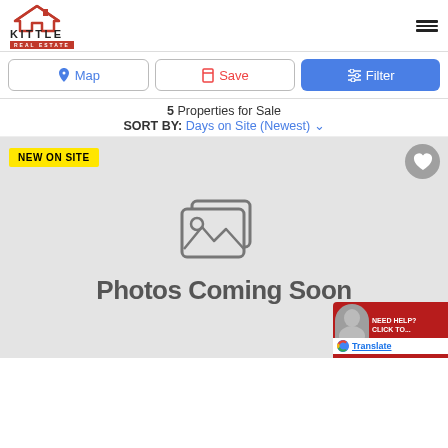[Figure (logo): Kittle Real Estate logo with house icon and red banner]
Map
Save
Filter
5 Properties for Sale
SORT BY: Days on Site (Newest)
NEW ON SITE
[Figure (illustration): Photos Coming Soon placeholder with stacked image icon]
Photos Coming Soon
[Figure (screenshot): Need Help chat widget with Google Translate button]